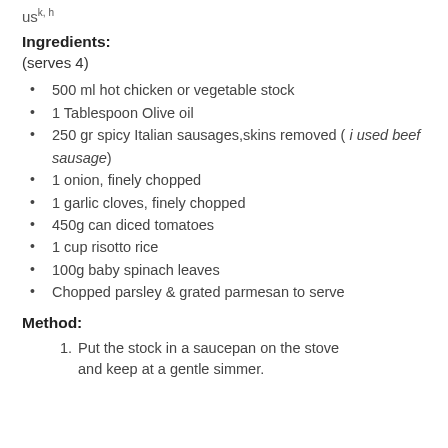us
Ingredients:
(serves 4)
500 ml hot chicken or vegetable stock
1 Tablespoon Olive oil
250 gr spicy Italian sausages,skins removed ( i used beef sausage)
1 onion, finely chopped
1 garlic cloves, finely chopped
450g can diced tomatoes
1 cup risotto rice
100g baby spinach leaves
Chopped parsley & grated parmesan to serve
Method:
Put the stock in a saucepan on the stove and keep at a gentle simmer.